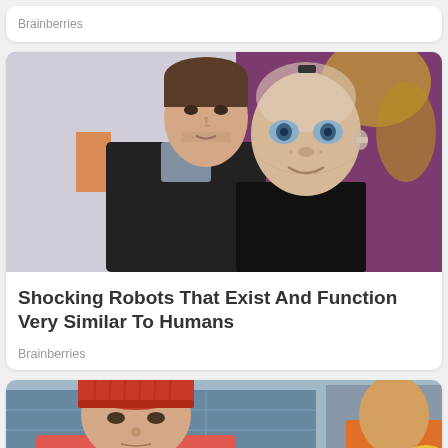Brainberries
[Figure (photo): A man in a black jacket standing behind a humanoid robot (Sophia robot) with realistic facial features, in front of a purple background with yellow designs.]
Shocking Robots That Exist And Function Very Similar To Humans
Brainberries
[Figure (photo): A person wearing a red beanie hat, partial view, with a blurred background showing buildings and another person partially visible on the right side.]